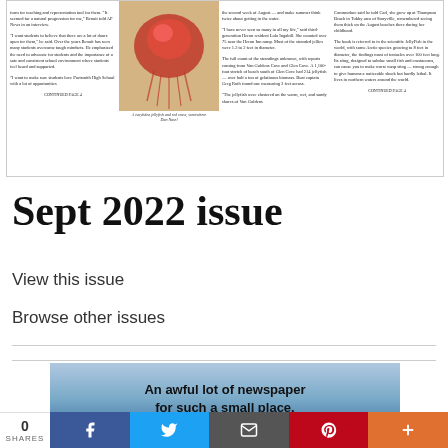[Figure (screenshot): Newspaper page preview showing three columns of small text and a central image of a red jellyfish on sand with a caption below it]
Sept 2022 issue
View this issue
Browse other issues
[Figure (illustration): Advertisement banner with blue gradient background reading: An awful lot of newspaper for such a small place.]
0 SHARES | Facebook | Twitter | Email | Pinterest | More